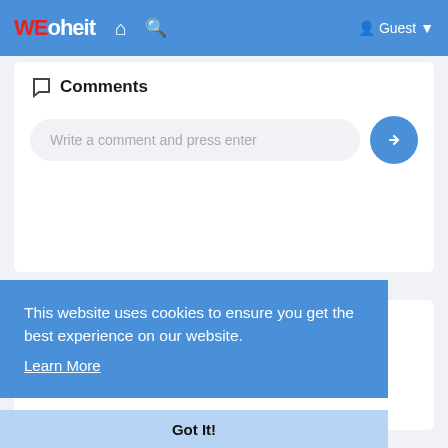WEoheit  🏠  🔍  Guest
Comments
Write a comment and press enter
This website uses cookies to ensure you get the best experience on our website. Learn More
Got It!